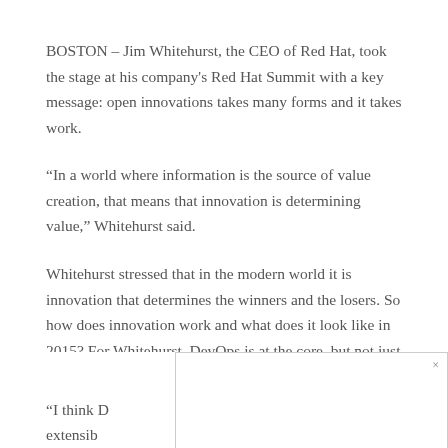BOSTON – Jim Whitehurst, the CEO of Red Hat, took the stage at his company's Red Hat Summit with a key message: open innovations takes many forms and it takes work.
“In a world where information is the source of value creation, that means that innovation is determining value,” Whitehurst said.
Whitehurst stressed that in the modern world it is innovation that determines the winners and the losers. So how does innovation work and what does it look like in 2015? For Whitehurst, DevOps is at the core, but not just as a developer mindset, but as a business mindset.
“I think D[...] are extensib[...] an